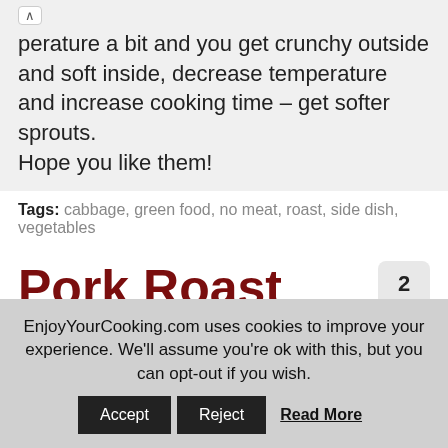perature a bit and you get crunchy outside and soft inside, decrease temperature and increase cooking time – get softer sprouts.

Hope you like them!
Tags: cabbage, green food, no meat, roast, side dish, vegetables
Pork Roast with Garlic, Mayo and Spices
2
June 25th, 2011 in Main Dishes, Pork by Julia Volhina
EnjoyYourCooking.com uses cookies to improve your experience. We'll assume you're ok with this, but you can opt-out if you wish. Accept  Reject  Read More